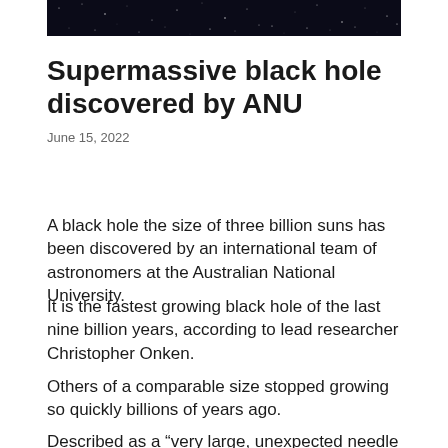[Figure (photo): Night sky / space photograph showing a dark starfield, cropped at the top of the page.]
Supermassive black hole discovered by ANU
June 15, 2022
A black hole the size of three billion suns has been discovered by an international team of astronomers at the Australian National University.
It is the fastest growing black hole of the last nine billion years, according to lead researcher Christopher Onken.
Others of a comparable size stopped growing so quickly billions of years ago.
Described as a “very large, unexpected needle in the haystack” by Dr Onken and his co-authors, the